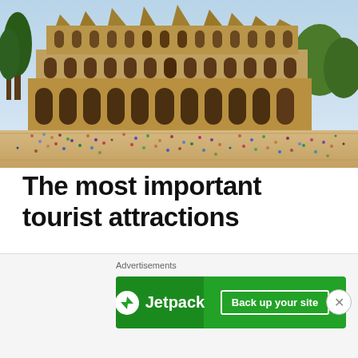[Figure (photo): Aerial/elevated view of the Colosseum in Rome, Italy, with large crowds of tourists surrounding it on a sunny day. Trees visible on the right side.]
The most important tourist attractions
Colosseum, Forum Romanum, and Palatine Hill: These are maybe the three most important
Advertisements
[Figure (infographic): Jetpack advertisement banner with green background. Left side has Jetpack lightning bolt logo and brand name. Right side has 'Back up your site' button in white border. A close (X) button appears to the right of the banner.]